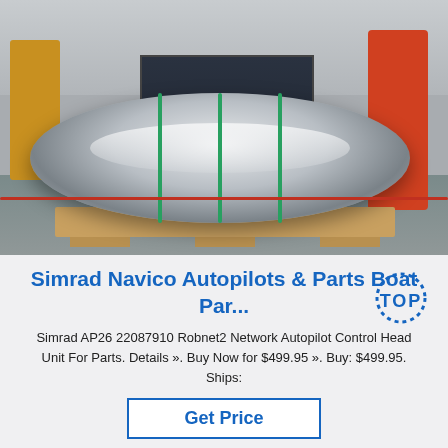[Figure (photo): Industrial warehouse photo showing a large silver steel coil on a wooden pallet, with heavy machinery and a red forklift visible in the background. Green straps secure the coil. A red cable runs along the floor.]
Simrad Navico Autopilots & Parts Boat Par...
Simrad AP26 22087910 Robnet2 Network Autopilot Control Head Unit For Parts. Details ». Buy Now for $499.95 ». Buy: $499.95. Ships:
Get Price